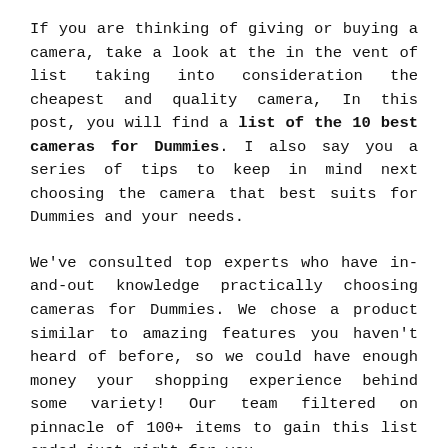If you are thinking of giving or buying a camera, take a look at the in the vent of list taking into consideration the cheapest and quality camera, In this post, you will find a list of the 10 best cameras for Dummies. I also say you a series of tips to keep in mind next choosing the camera that best suits for Dummies and your needs.
We've consulted top experts who have in-and-out knowledge practically choosing cameras for Dummies. We chose a product similar to amazing features you haven't heard of before, so we could have enough money your shopping experience behind some variety! Our team filtered on pinnacle of 100+ items to gain this list ended just right for you.